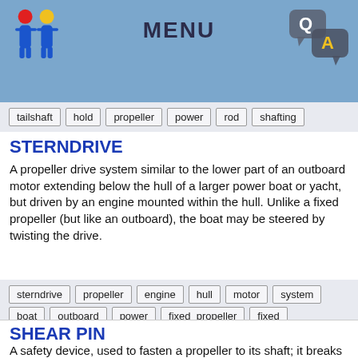MENU
tailshaft | hold | propeller | power | rod | shafting
STERNDRIVE
A propeller drive system similar to the lower part of an outboard motor extending below the hull of a larger power boat or yacht, but driven by an engine mounted within the hull. Unlike a fixed propeller (but like an outboard), the boat may be steered by twisting the drive.
sterndrive | propeller | engine | hull | motor | system | boat | outboard | power | fixed_propeller | fixed | outboard_motor
SHEAR PIN
A safety device, used to fasten a propeller to its shaft; it breaks when the propeller hits a solid object, thus